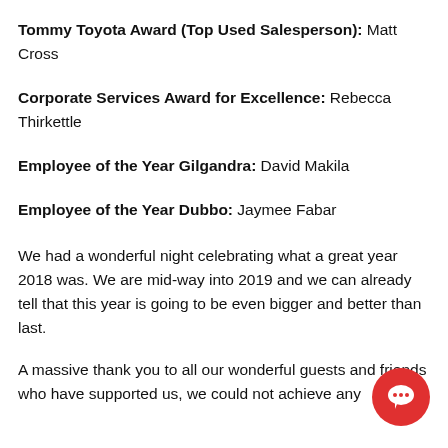Tommy Toyota Award (Top Used Salesperson): Matt Cross
Corporate Services Award for Excellence: Rebecca Thirkettle
Employee of the Year Gilgandra: David Makila
Employee of the Year Dubbo: Jaymee Fabar
We had a wonderful night celebrating what a great year 2018 was. We are mid-way into 2019 and we can already tell that this year is going to be even bigger and better than last.
A massive thank you to all our wonderful guests and friends who have supported us, we could not achieve any